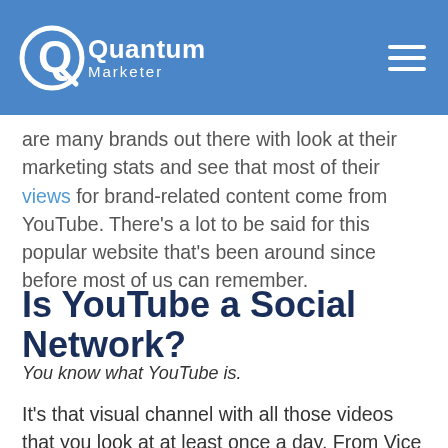Quantum Marketer
are many brands out there with look at their marketing stats and see that most of their views for brand-related content come from YouTube. There's a lot to be said for this popular website that's been around since before most of us can remember.
Is YouTube a Social Network?
You know what YouTube is.
It's that visual channel with all those videos that you look at at least once a day. From Vice to Buzzfeed and The